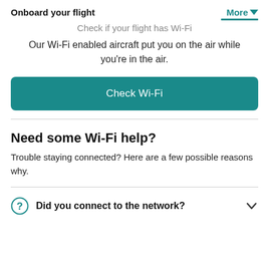Onboard your flight    More
Our Wi-Fi enabled aircraft put you on the air while you're in the air.
Check Wi-Fi
Need some Wi-Fi help?
Trouble staying connected? Here are a few possible reasons why.
Did you connect to the network?